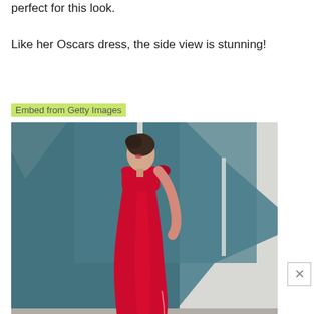perfect for this look.
Like her Oscars dress, the side view is stunning!
Embed from Getty Images
[Figure (photo): A woman in a red sleeveless gown seen from the side, standing in front of a dark teal and white geometric background. She has dark hair pulled back and red lips. The dress has a bow at the shoulder and a slit.]